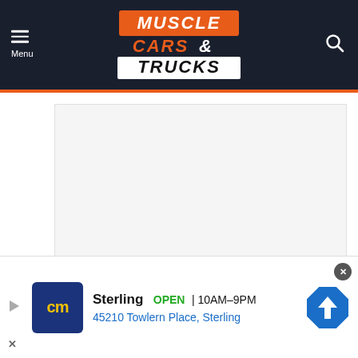Muscle Cars & Trucks
[Figure (other): Advertisement placeholder box (blank grey area)]
Tags
[Figure (infographic): Bottom banner advertisement: CarMax (cm logo), Sterling, OPEN 10AM-9PM, 45210 Towlern Place, Sterling]